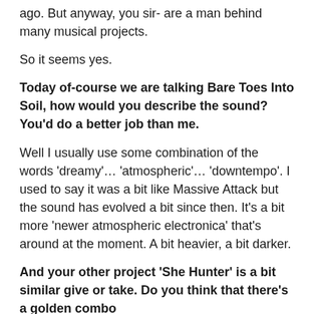ago. But anyway, you sir- are a man behind many musical projects.
So it seems yes.
Today of-course we are talking Bare Toes Into Soil, how would you describe the sound? You'd do a better job than me.
Well I usually use some combination of the words 'dreamy'… 'atmospheric'… 'downtempo'. I used to say it was a bit like Massive Attack but the sound has evolved a bit since then. It's a bit more 'newer atmospheric electronica' that's around at the moment. A bit heavier, a bit darker.
And your other project 'She Hunter' is a bit similar give or take. Do you think that there's a golden combo